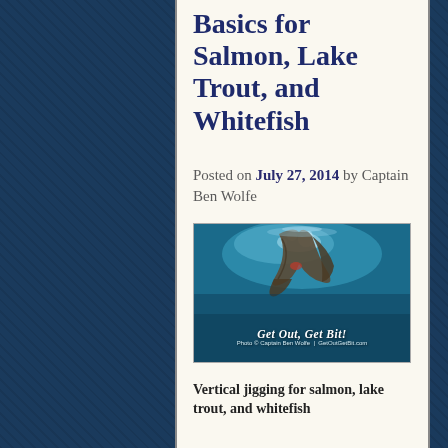Basics for Salmon, Lake Trout, and Whitefish
Posted on July 27, 2014 by Captain Ben Wolfe
[Figure (photo): Underwater photo of a fish tail breaking the surface with bubbles, overlaid with 'Get Out, Get Bit!' logo and caption 'Photo © Captain Ben Wolfe | GetOutGetBit.com']
Vertical jigging for salmon, lake trout, and whitefish